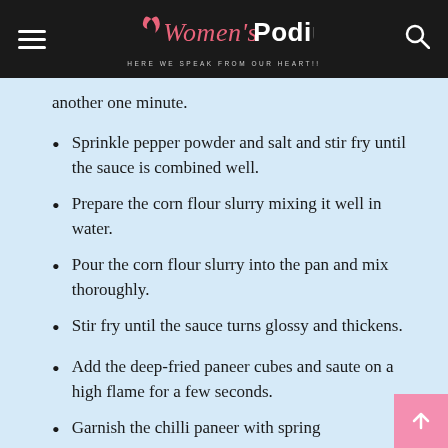Women's Podium — HERE WE SPEAK FROM OUR HEART!!
another one minute.
Sprinkle pepper powder and salt and stir fry until the sauce is combined well.
Prepare the corn flour slurry mixing it well in water.
Pour the corn flour slurry into the pan and mix thoroughly.
Stir fry until the sauce turns glossy and thickens.
Add the deep-fried paneer cubes and saute on a high flame for a few seconds.
Garnish the chilli paneer with spring